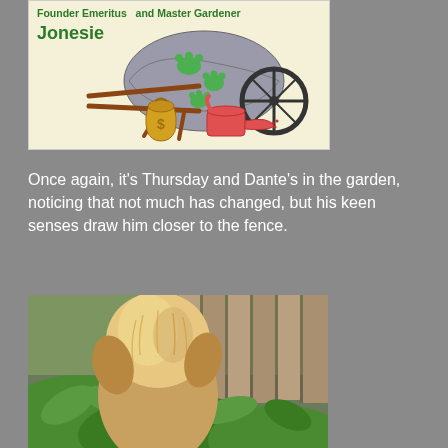[Figure (illustration): Illustrated header image with a wheelbarrow, gardening tools, watering can, and green paw prints, with text 'Founder Emeritus and Master Gardener Jonesie' on a cream background]
Once again, it's Thursday and Dante's in the garden, noticing that not much has changed, but his keen senses draw him closer to the fence.
[Figure (photo): Photo of a fluffy golden/tan dog viewed from behind, sniffing near green garden plants with a wooden fence in the background]